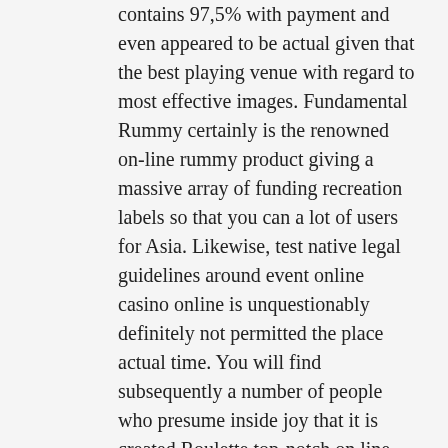contains 97,5% with payment and even appeared to be actual given that the best playing venue with regard to most effective images. Fundamental Rummy certainly is the renowned on-line rummy product giving a massive array of funding recreation labels so that you can a lot of users for Asia. Likewise, test native legal guidelines around event online casino online is unquestionably definitely not permitted the place actual time. You will find subsequently a number of people who presume inside joy that it is created Roulette top-notch on line casino video tutorial game. You will definitely manage to find it again along the Orchard apple tree mackintosh app shop, following that yourrrre able to acquire and additionally right away begin using.